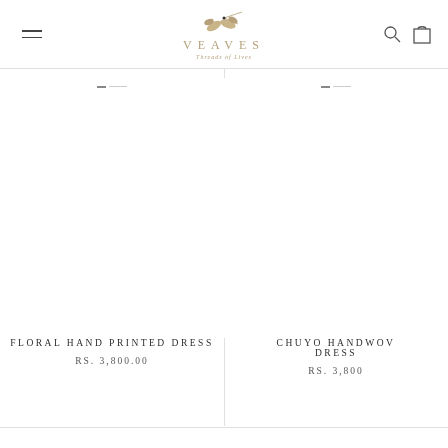VEAVES — navigation header with logo, hamburger menu, search and cart icons
[Figure (screenshot): Product image placeholder for Floral Hand Printed Dress]
FLORAL HAND PRINTED DRESS
RS. 3,800.00
[Figure (screenshot): Product image placeholder for Chuyo Handwoven Dress (partially visible)]
CHUYO HANDWOVEN DRESS
RS. 3,800